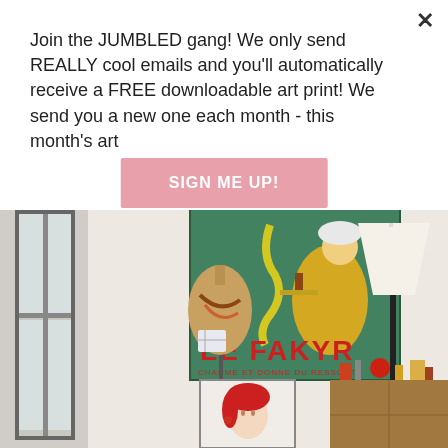Join the JUMBLED gang! We only send REALLY cool emails and you'll automatically receive a FREE downloadable art print! We send you a new one each month - this month's art
SIGN ME UP!
[Figure (photo): Interior room photo showing a dress form mannequin with accessories, a large vintage 'Le Fakyr' poster on the wall (green background with illustrated fakir and snake character), a floor lamp with white shade, and a sideboard with various decorative objects. Below the main poster is a smaller framed portrait print of a woman with red hair.]